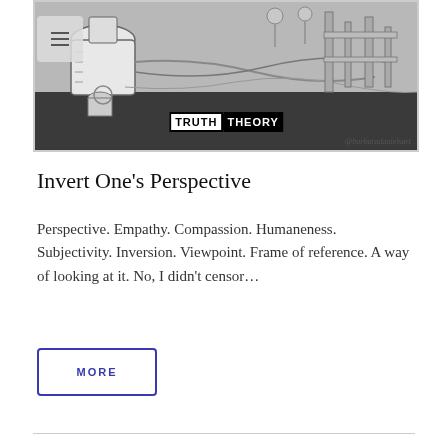[Figure (illustration): Black and white sketch/illustration showing medical or scientific equipment including what appears to be syringes, tubes, and mechanical apparatus, with a 'TRUTH THEORY' watermark badge and '@barbaradanielsart' credit.]
Invert One's Perspective
Perspective. Empathy. Compassion. Humaneness. Subjectivity. Inversion. Viewpoint. Frame of reference. A way of looking at it. No, I didn't censor…
MORE